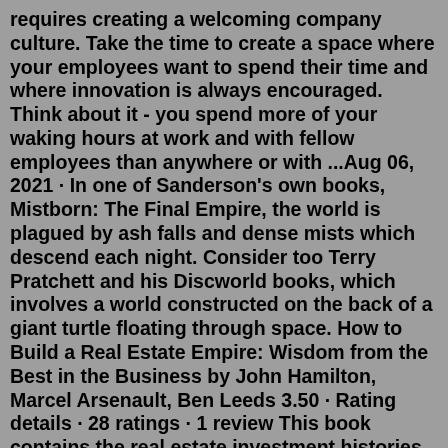requires creating a welcoming company culture. Take the time to create a space where your employees want to spend their time and where innovation is always encouraged. Think about it - you spend more of your waking hours at work and with fellow employees than anywhere or with ...Aug 06, 2021 · In one of Sanderson's own books, Mistborn: The Final Empire, the world is plagued by ash falls and dense mists which descend each night. Consider too Terry Pratchett and his Discworld books, which involves a world constructed on the back of a giant turtle floating through space. How to Build a Real Estate Empire: Wisdom from the Best in the Business by John Hamilton, Marcel Arsenault, Ben Leeds 3.50 · Rating details · 28 ratings · 1 review This book contains the real estate investment histories of four highly successful individuals.Elena Cardone's smash hit "Build an Empire" lays the groundwork for creating, building and defending an extraordinary career and marriage based on the real-life, time-